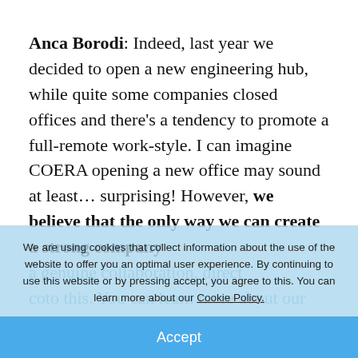Anca Borodi: Indeed, last year we decided to open a new engineering hub, while quite some companies closed offices and there's a tendency to promote a full-remote work-style. I can imagine COERA opening a new office may sound at least… surprising! However, we believe that the only way we can create a strong company
We are using cookies that collect information about the use of the website to offer you an optimal user experience. By continuing to use this website or by pressing accept, you agree to this. You can learn more about our Cookie Policy.
Accept